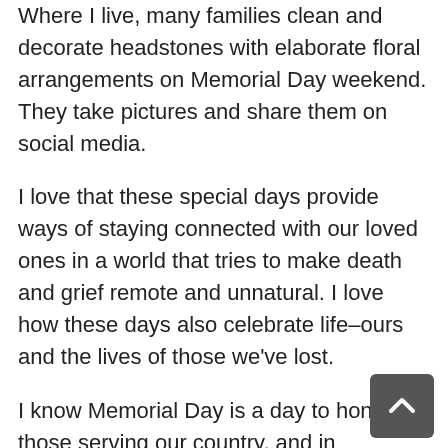Where I live, many families clean and decorate headstones with elaborate floral arrangements on Memorial Day weekend. They take pictures and share them on social media.
I love that these special days provide ways of staying connected with our loved ones in a world that tries to make death and grief remote and unnatural. I love how these days also celebrate life–ours and the lives of those we've lost.
I know Memorial Day is a day to honor those serving our country, and in particular, those who have died in that service, and I mean no disrespect. For many, Memorial Day weekend feels like another unwelcome holiday, another miserable long weekend, to spend alone while others attend